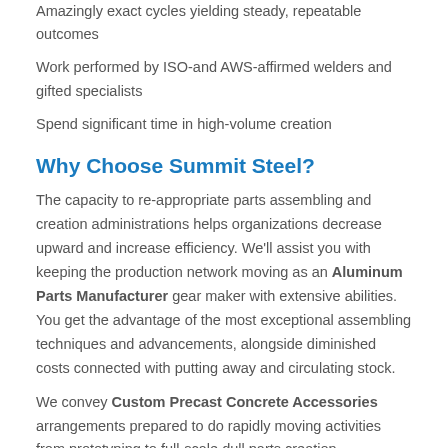Amazingly exact cycles yielding steady, repeatable outcomes
Work performed by ISO-and AWS-affirmed welders and gifted specialists
Spend significant time in high-volume creation
Why Choose Summit Steel?
The capacity to re-appropriate parts assembling and creation administrations helps organizations decrease upward and increase efficiency. We'll assist you with keeping the production network moving as an Aluminum Parts Manufacturer gear maker with extensive abilities. You get the advantage of the most exceptional assembling techniques and advancements, alongside diminished costs connected with putting away and circulating stock.
We convey Custom Precast Concrete Accessories arrangements prepared to do rapidly moving activities from prototyping to full-scale dull parts creation.
Depending on the extent of the agreement, the balance of the...